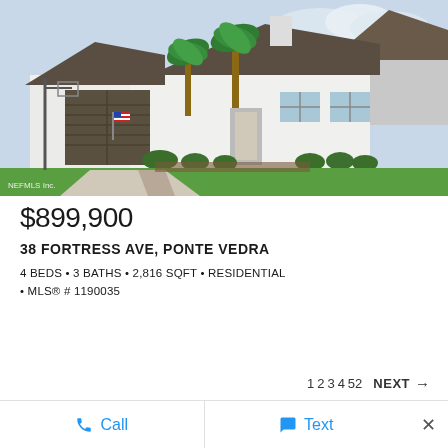[Figure (photo): Exterior photo of a single-story white residential home with brown garage door, palm trees, concrete driveway, and well-manicured green lawn. MLS watermark in bottom-left corner reads 'NEFMLS Inc.']
$899,900
38 FORTRESS AVE, PONTE VEDRA
4 BEDS • 3 BATHS • 2,816 SQFT • RESIDENTIAL • MLS® # 1190035
1 2 3 4 52   NEXT →
Call   Text   ×